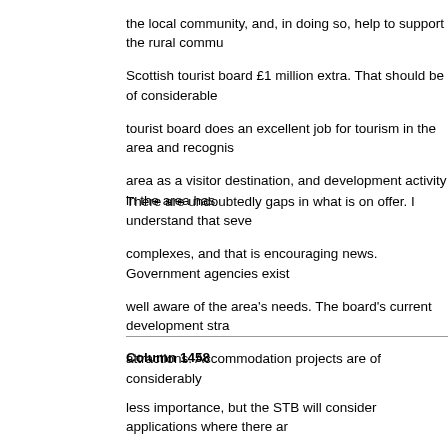We also recognise the importance of tourism in the Borders. Tourists benefit the local community, and, in doing so, help to support the rural community. Scottish tourist board £1 million extra. That should be of considerable tourist board does an excellent job for tourism in the area and recognis area as a visitor destination, and development activity in the area has
There are undoubtedly gaps in what is on offer. I understand that seve complexes, and that is encouraging news. Government agencies exist well aware of the area's needs. The board's current development stra attractions. Accommodation projects are of considerably
Column 1458
less importance, but the STB will consider applications where there ar particular requirements of the Borders.
The hon. Gentleman has argued in the past for a range of powers for appreciate his wish to see the maximum stimulus being available to Bo HIDB was created by a set of unique circumstances in the United King economic difficulty which call for very special solutions. I do not think t problems of the Borders match those of the Highlands and Islands, or the SDA has an extremely wide range of powers which it is already us benefits across the whole range of community life. On the social deve authorities, central Government and the voluntary organisations.
Mr. Kirkwood : I understand what the Minister says--I have been at p the burden of my remarks is that there is no overall coherence to the p development agency that could work with the local authority it would b they could be much more effective if there were some coherence and
Lord James Douglas-Hamilton : It is important that that should take